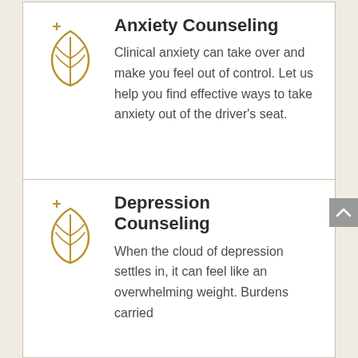[Figure (illustration): Golden/tan leaf icon with a small plus sign, decorative botanical symbol]
Anxiety Counseling
Clinical anxiety can take over and make you feel out of control. Let us help you find effective ways to take anxiety out of the driver's seat.
[Figure (illustration): Golden/tan leaf icon with a small plus sign, decorative botanical symbol]
Depression Counseling
When the cloud of depression settles in, it can feel like an overwhelming weight. Burdens carried